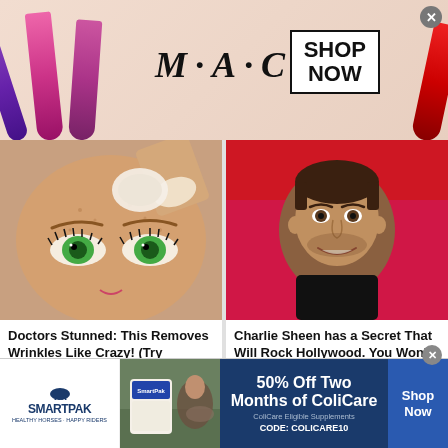[Figure (screenshot): M.A.C cosmetics advertisement banner with lipsticks and 'SHOP NOW' box]
[Figure (illustration): Illustrated close-up of a woman's face with green eyes and freckles, with makeup being applied]
Doctors Stunned: This Removes Wrinkles Like Crazy! (Try Tonight)
[Figure (photo): Photo of Charlie Sheen smiling at an event with pink background]
Charlie Sheen has a Secret That Will Rock Hollywood. You Won't Believe the News!
[Figure (photo): Photo of person leaning on an orange car wearing sunglasses]
[Figure (photo): Close-up photo of an elbow or arm with colorful fabric]
[Figure (screenshot): SmartPak advertisement banner: 50% Off Two Months of ColiCare, CODE: COLICARE10, Shop Now]